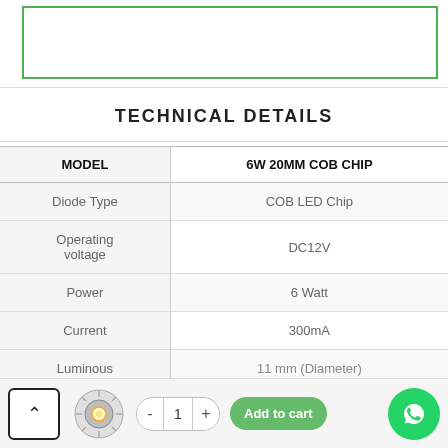[Figure (photo): Product image placeholder area with green border box outline]
TECHNICAL DETAILS
| MODEL | 6W 20MM COB CHIP |
| --- | --- |
| Diode Type | COB LED Chip |
| Operating voltage | DC12V |
| Power | 6 Watt |
| Current | 300mA |
| Luminous | 11 mm (Diameter) |
[Figure (other): Footer navigation bar with back-to-top button, product thumbnail, quantity control, add to cart button, and WhatsApp contact button]